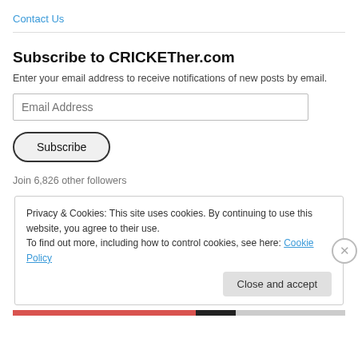Contact Us
Subscribe to CRICKETher.com
Enter your email address to receive notifications of new posts by email.
Email Address
Subscribe
Join 6,826 other followers
Privacy & Cookies: This site uses cookies. By continuing to use this website, you agree to their use.
To find out more, including how to control cookies, see here: Cookie Policy
Close and accept